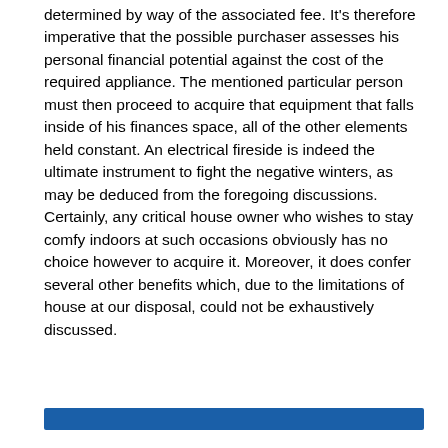determined by way of the associated fee. It's therefore imperative that the possible purchaser assesses his personal financial potential against the cost of the required appliance. The mentioned particular person must then proceed to acquire that equipment that falls inside of his finances space, all of the other elements held constant. An electrical fireside is indeed the ultimate instrument to fight the negative winters, as may be deduced from the foregoing discussions. Certainly, any critical house owner who wishes to stay comfy indoors at such occasions obviously has no choice however to acquire it. Moreover, it does confer several other benefits which, due to the limitations of house at our disposal, could not be exhaustively discussed.
[Figure (other): A solid blue horizontal bar/banner at the bottom of the page.]